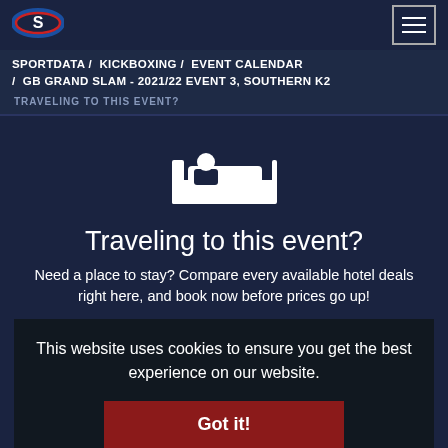[Figure (logo): Sportdata logo with stylized S in blue and red on dark background]
[Figure (other): Hamburger menu button with three horizontal lines in a bordered box]
SPORTDATA /  KICKBOXING /  EVENT CALENDAR /  GB GRAND SLAM - 2021/22 EVENT 3, SOUTHERN K2
TRAVELING TO THIS EVENT?
[Figure (illustration): White bed/hotel room icon showing a person lying in bed]
Traveling to this event?
Need a place to stay? Compare every available hotel deals right here, and book now before prices go up!
This website uses cookies to ensure you get the best experience on our website.
Got it!